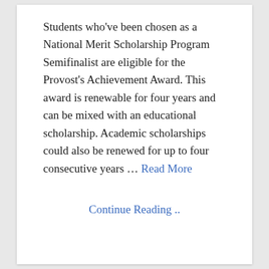Students who've been chosen as a National Merit Scholarship Program Semifinalist are eligible for the Provost's Achievement Award. This award is renewable for four years and can be mixed with an educational scholarship. Academic scholarships could also be renewed for up to four consecutive years … Read More
Continue Reading ..